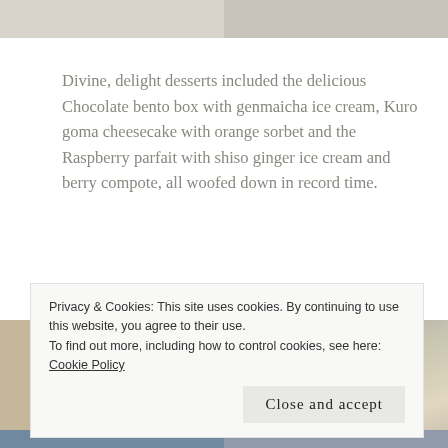[Figure (photo): Two partial food/dessert images at the top of the page, cropped]
Divine, delight desserts included the delicious Chocolate bento box with genmaicha ice cream, Kuro goma cheesecake with orange sorbet and the Raspberry parfait with shiso ginger ice cream and berry compote, all woofed down in record time.
[Figure (photo): Left: circular tin/disc with 'Peter' text visible. Right: cocktail glass with sugared rim and garnish.]
Privacy & Cookies: This site uses cookies. By continuing to use this website, you agree to their use.
To find out more, including how to control cookies, see here: Cookie Policy
Close and accept
[Figure (photo): Two partial images at the bottom of the page, cut off]